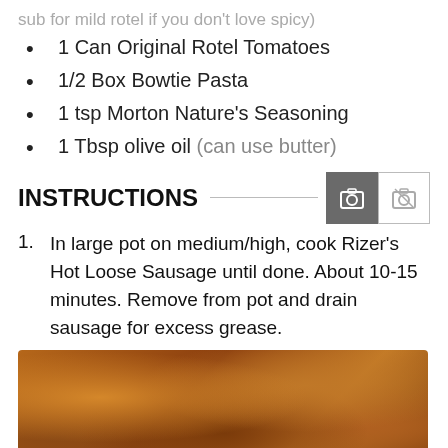sub for mild rotel if you don't love spicy)
1 Can Original Rotel Tomatoes
1/2 Box Bowtie Pasta
1 tsp Morton Nature's Seasoning
1 Tbsp olive oil (can use butter)
INSTRUCTIONS
In large pot on medium/high, cook Rizer's Hot Loose Sausage until done. About 10-15 minutes. Remove from pot and drain sausage for excess grease.
[Figure (photo): Cooked crumbled sausage pieces in a pan, browned with orange-brown color]